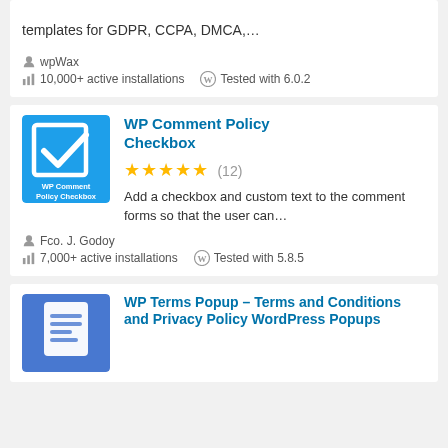templates for GDPR, CCPA, DMCA,...
wpWax
10,000+ active installations  Tested with 6.0.2
[Figure (logo): WP Comment Policy Checkbox plugin icon - blue square with white checkbox and text]
WP Comment Policy Checkbox
★★★★★ (12)
Add a checkbox and custom text to the comment forms so that the user can…
Fco. J. Godoy
7,000+ active installations  Tested with 5.8.5
[Figure (logo): WP Terms Popup plugin icon - blue square with document lines]
WP Terms Popup – Terms and Conditions and Privacy Policy WordPress Popups